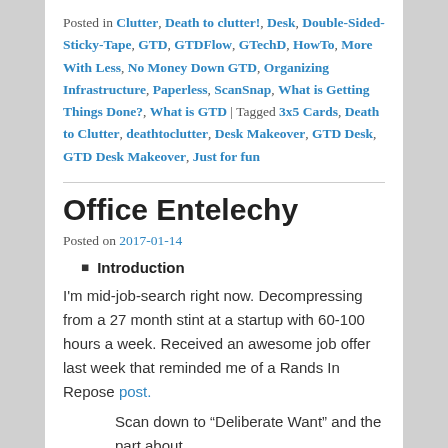Posted in Clutter, Death to clutter!, Desk, Double-Sided-Sticky-Tape, GTD, GTDFlow, GTechD, HowTo, More With Less, No Money Down GTD, Organizing Infrastructure, Paperless, ScanSnap, What is Getting Things Done?, What is GTD | Tagged 3x5 Cards, Death to Clutter, deathtoclutter, Desk Makeover, GTD Desk, GTD Desk Makeover, Just for fun
Office Entelechy
Posted on 2017-01-14
Introduction
I'm mid-job-search right now. Decompressing from a 27 month stint at a startup with 60-100 hours a week. Received an awesome job offer last week that reminded me of a Rands In Repose post.
Scan down to “Deliberate Want” and the part about